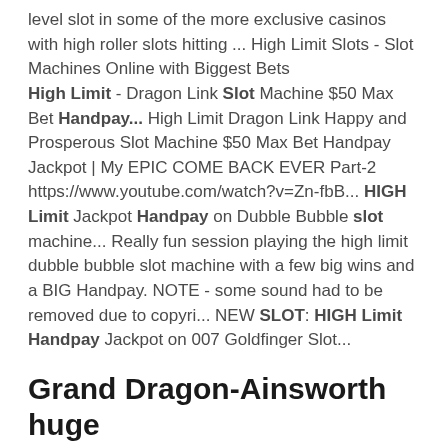level slot in some of the more exclusive casinos with high roller slots hitting ... High Limit Slots - Slot Machines Online with Biggest Bets High Limit - Dragon Link Slot Machine $50 Max Bet Handpay... High Limit Dragon Link Happy and Prosperous Slot Machine $50 Max Bet Handpay Jackpot | My EPIC COME BACK EVER Part-2 https://www.youtube.com/watch?v=Zn-fbB... HIGH Limit Jackpot Handpay on Dubble Bubble slot machine... Really fun session playing the high limit dubble bubble slot machine with a few big wins and a BIG Handpay. NOTE - some sound had to be removed due to copyri... NEW SLOT: HIGH Limit Handpay Jackpot on 007 Goldfinger Slot...
Grand Dragon-Ainsworth huge